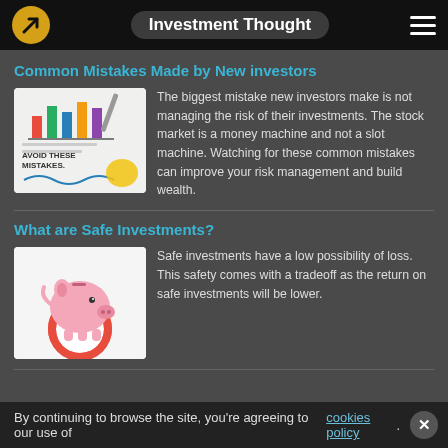Investment Thought
Common Mistakes Made by New investors
[Figure (illustration): A notepad showing colorful bar charts with the text 'AVOID THESE MISTAKES' written on it, with a pen nearby]
The biggest mistake new investors make is not managing the risk of their investments. The stock market is a money machine and not a slot machine. Watching for these common mistakes can improve your risk management and build wealth.
What are Safe Investments?
[Figure (illustration): A pink piggy bank sitting on a white and red life preserver ring]
Safe investments have a low possibility of loss. This safety comes with a tradeoff as the return on safe investments will be lower.
By continuing to browse the site, you're agreeing to our use of cookies policy.